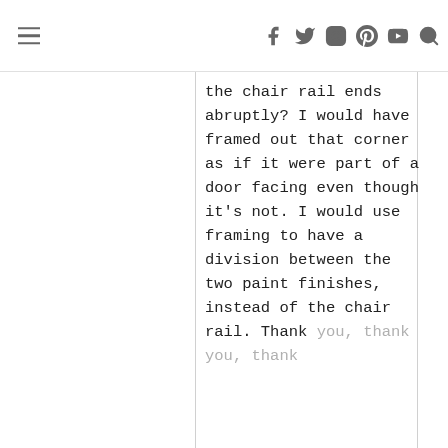≡  f  t  instagram  pinterest  youtube  search
the chair rail ends abruptly? I would have framed out that corner as if it were part of a door facing even though it's not. I would use framing to have a division between the two paint finishes, instead of the chair rail. Thank you, thank you, thank you for this...